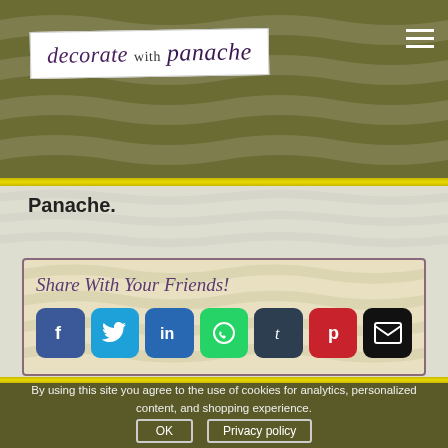[Figure (logo): Decorate with Panache logo in white box with italic script text]
Panache.
[Figure (infographic): Share With Your Friends! box with social media buttons: Facebook, Twitter, LinkedIn, WhatsApp, Tumblr, Pinterest, Email]
By using this site you agree to the use of cookies for analytics, personalized content, and shopping experience.